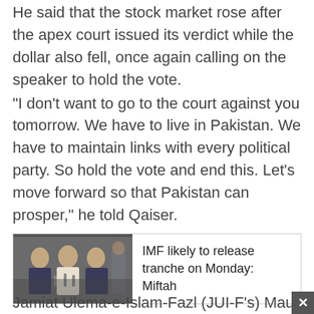He said that the stock market rose after the apex court issued its verdict while the dollar also fell, once again calling on the speaker to hold the vote.
"I don't want to go to the court against you tomorrow. We have to live in Pakistan. We have to maintain links with every political party. So hold the vote and end this. Let’s move forward so that Pakistan can prosper," he told Qaiser.
[Figure (photo): Photo of people at a press conference with microphones]
IMF likely to release tranche on Monday: Miftah
This prompted the NA speaker to say that he would implement the court’s directive in "true spirit".
Jamiat Ulema-e-Islam-Fazl (JUI-F’s) Maulana Asad